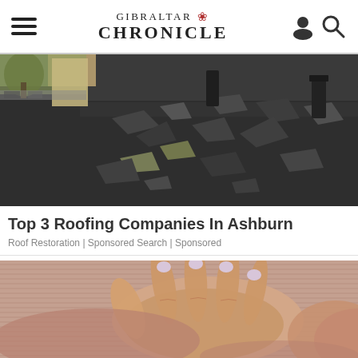GIBRALTAR CHRONICLE
[Figure (photo): Damaged roof with lifted and cracked dark shingles, some green underlayment visible, suburban neighborhood in background]
Top 3 Roofing Companies In Ashburn
Roof Restoration | Sponsored Search | Sponsored
[Figure (photo): Close-up of a woman's hand with light purple/lavender nail polish resting on her ribcage/chest area, wearing a ribbed dusty rose top]